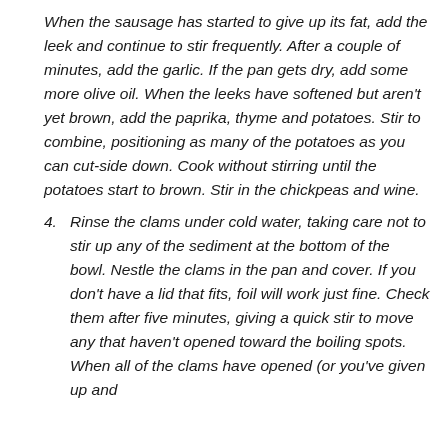When the sausage has started to give up its fat, add the leek and continue to stir frequently. After a couple of minutes, add the garlic. If the pan gets dry, add some more olive oil. When the leeks have softened but aren't yet brown, add the paprika, thyme and potatoes. Stir to combine, positioning as many of the potatoes as you can cut-side down. Cook without stirring until the potatoes start to brown. Stir in the chickpeas and wine.
4. Rinse the clams under cold water, taking care not to stir up any of the sediment at the bottom of the bowl. Nestle the clams in the pan and cover. If you don't have a lid that fits, foil will work just fine. Check them after five minutes, giving a quick stir to move any that haven't opened toward the boiling spots. When all of the clams have opened (or you've given up and